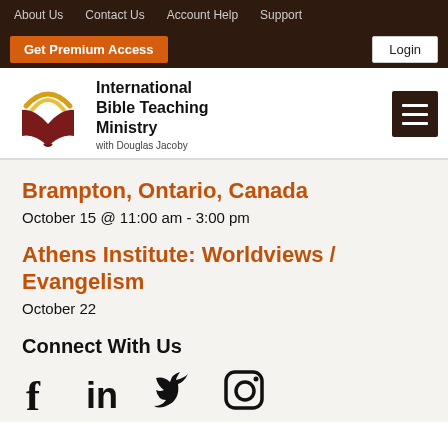About Us   Contact Us   Account Help   Support
Get Premium Access   Login
[Figure (logo): International Bible Teaching Ministry logo with book and halo graphic, 'with Douglas Jacoby' subtitle]
Brampton, Ontario, Canada
October 15 @ 11:00 am - 3:00 pm
Athens Institute: Worldviews / Evangelism
October 22
Connect With Us
[Figure (illustration): Social media icons: Facebook, LinkedIn, Twitter, Instagram]